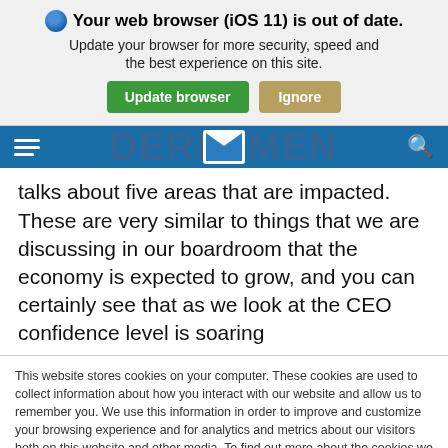[Figure (screenshot): Browser update notification banner with shield icon, bold title 'Your web browser (iOS 11) is out of date.', subtitle text, green 'Update browser' button and tan 'Ignore' button on gray background]
[Figure (screenshot): Dark blue navigation bar with hamburger menu icon on left, envelope icon in center, and search magnifying glass icon on right]
talks about five areas that are impacted. These are very similar to things that we are discussing in our boardroom that the economy is expected to grow, and you can certainly see that as we look at the CEO confidence level is soaring
This website stores cookies on your computer. These cookies are used to collect information about how you interact with our website and allow us to remember you. We use this information in order to improve and customize your browsing experience and for analytics and metrics about our visitors both on this website and other media. To find out more about the cookies we use, see our Privacy Policy.
Accept
Don't ask me again